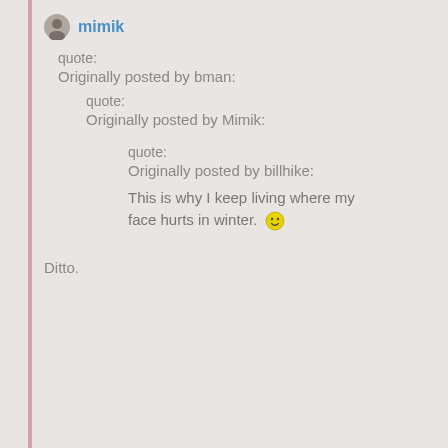mimik
quote:
Originally posted by bman:
quote:
Originally posted by Mimik:
quote:
Originally posted by billhike:
This is why I keep living where my face hurts in winter. 🙂
Ditto.